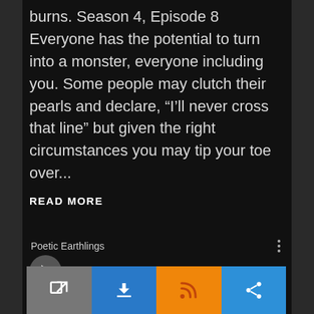burns. Season 4, Episode 8 Everyone has the potential to turn into a monster, everyone including you. Some people may clutch their pearls and declare, “I’ll never cross that line” but given the right circumstances you may tip your toe over...
READ MORE
[Figure (screenshot): Audio player widget showing 'Poetic Earthlings' podcast with play button, progress bar at 0:00, volume button, and a three-dot menu icon]
[Figure (screenshot): Bottom toolbar with four buttons: open-in-new (gray), download (blue), RSS/podcast feed (orange), and share (blue)]